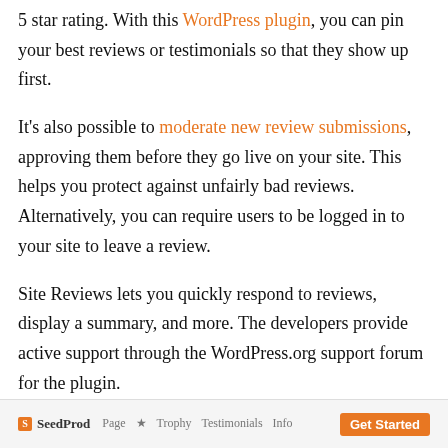5 star rating. With this WordPress plugin, you can pin your best reviews or testimonials so that they show up first.
It's also possible to moderate new review submissions, approving them before they go live on your site. This helps you protect against unfairly bad reviews. Alternatively, you can require users to be logged in to your site to leave a review.
Site Reviews lets you quickly respond to reviews, display a summary, and more. The developers provide active support through the WordPress.org support forum for the plugin.
5. SeedProd
[Figure (screenshot): SeedProd plugin interface showing logo, navigation links (Page, Star, Trophy, Testimonials, Info), and a button]